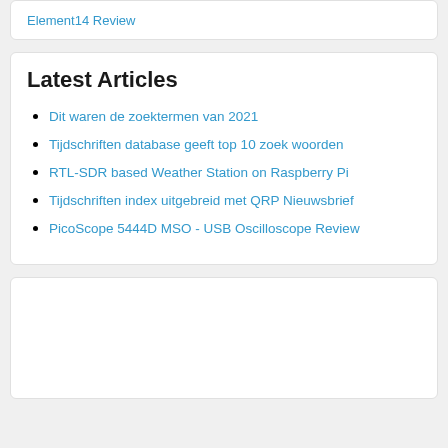Element14 Review
Latest Articles
Dit waren de zoektermen van 2021
Tijdschriften database geeft top 10 zoek woorden
RTL-SDR based Weather Station on Raspberry Pi
Tijdschriften index uitgebreid met QRP Nieuwsbrief
PicoScope 5444D MSO - USB Oscilloscope Review
[Figure (other): Empty white card/advertisement placeholder]